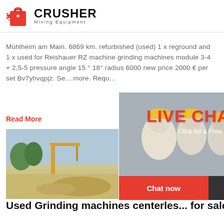CRUSHER Mining Equipment
Mühlheim am Main. 6869 km. refurbished (used) 1 x reground and 1 x used for Reishauer RZ machine grinding machines module 3-4 + 2,5-5 pressure angle 15 ° 18° radius 6000 new price 2000 € per set Bv7yhvqpjz. Se... more. Requ...
Read More
[Figure (photo): Photo of construction/mining site with machinery and sand]
[Figure (infographic): Live Chat popup overlay with workers in hard hats, LIVE CHAT heading, 'Click for a Free Consultation', Chat now and Chat later buttons, and a customer service agent photo on the right with 24Hrs Online banner, Need questions & suggestion?, Chat Now button, Enquiry link, and limingjlmofen@sina.com contact]
Used Grinding machines centerless for sale » Machineseeker
Call. 2, 2 Bloomfield Rd, Tipton DY4 9ET, UK. 76... (used) CINCINNATI 20M CENTRELESS GRINDI... MACHINE MAKE CINCINNATI MADE IN USA MODEL 20 M